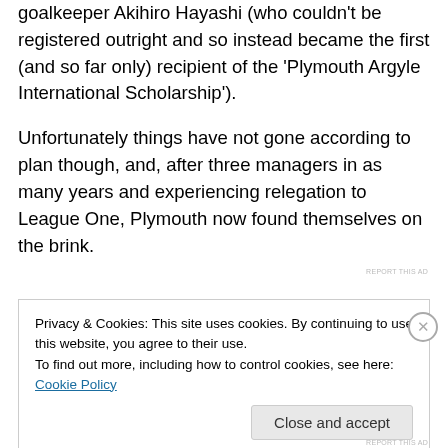goalkeeper Akihiro Hayashi (who couldn't be registered outright and so instead became the first (and so far only) recipient of the 'Plymouth Argyle International Scholarship').
Unfortunately things have not gone according to plan though, and, after three managers in as many years and experiencing relegation to League One, Plymouth now found themselves on the brink.
Privacy & Cookies: This site uses cookies. By continuing to use this website, you agree to their use.
To find out more, including how to control cookies, see here: Cookie Policy